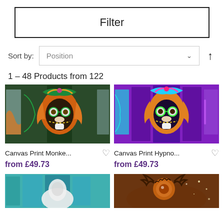Filter
Sort by: Position
1 – 48 Products from 122
[Figure (photo): Canvas print of a colorful monkey face, dark green background, multi-panel canvas art]
Canvas Print Monke...  from £49.73
[Figure (photo): Canvas print of a colorful hypnotic monkey face, bright purple and blue background, multi-panel canvas art]
Canvas Print Hypno...  from £49.73
[Figure (photo): Canvas print of a white animal (partially visible), teal background, multi-panel]
[Figure (photo): Canvas print of a deer with antlers, glowing eyes, warm brown tones, sparkle background]